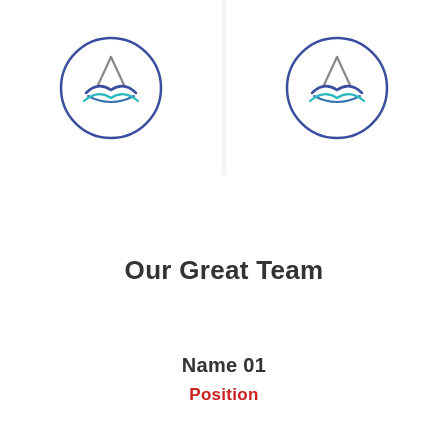[Figure (logo): Circular logo with an 'A' monogram and stylized paper boat/wave shape in blue and teal on white background, left card]
[Figure (logo): Circular logo with an 'A' monogram and stylized paper boat/wave shape in blue and teal on white background, right card]
Our Great Team
Name 01
Position